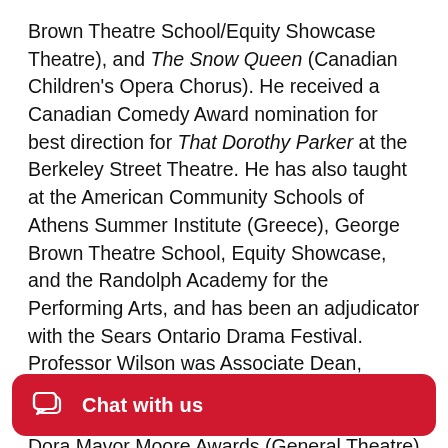Brown Theatre School/Equity Showcase Theatre), and The Snow Queen (Canadian Children's Opera Chorus). He received a Canadian Comedy Award nomination for best direction for That Dorothy Parker at the Berkeley Street Theatre. He has also taught at the American Community Schools of Athens Summer Institute (Greece), George Brown Theatre School, Equity Showcase, and the Randolph Academy for the Performing Arts, and has been an adjudicator with the Sears Ontario Drama Festival. Professor Wilson was Associate Dean, Academic, for the Faculty of Fine Arts, from 2009-2012. He is currently a juror for the Dora Mavor Moore Awards (General Theatre) in Toronto.
[Figure (other): Red chat button bar with chat icon and 'Chat with us' label]